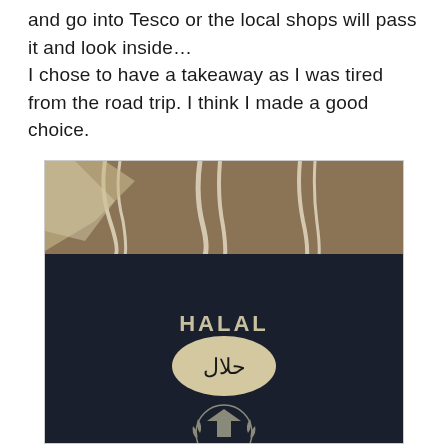and go into Tesco or the local shops will pass it and look inside… I chose to have a takeaway as I was tired from the road trip. I think I made a good choice.
[Figure (photo): A dark navy/black takeaway bag with white rope handles visible at the top. The bag has the word 'HALAL' printed in bold text, below which is an oval sticker with Arabic script (حلال) in dark ink on a cream/white oval background. Below that is a partially visible circular logo/emblem with a pagoda or tower motif surrounded by laurel branches.]